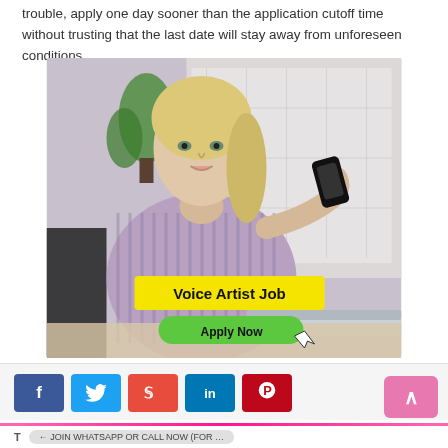trouble, apply one day sooner than the application cutoff time without trusting that the last date will stay away from unforeseen conditions.
[Figure (photo): A blonde woman in a purple striped shirt holding a smartphone up near her mouth as if recording voice, sitting at a desk with a laptop in front of her. An overlay banner reads 'Voice Artist Job' in bold black text on yellow background, and a green rounded button below says 'Apply Now' with a cursor icon.]
Social sharing buttons: Facebook, Twitter, StumbleUpon, LinkedIn, Pinterest. Scroll-to-top button.